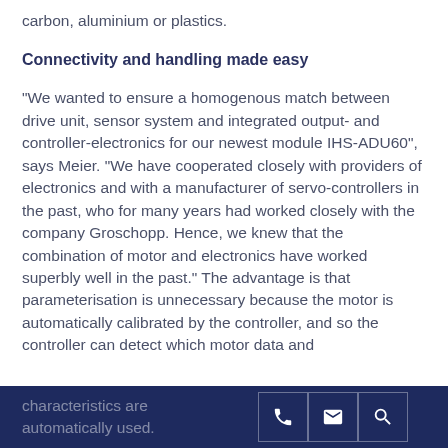carbon, aluminium or plastics.
Connectivity and handling made easy
“We wanted to ensure a homogenous match between drive unit, sensor system and integrated output- and controller-electronics for our newest module IHS-ADU60”, says Meier. “We have cooperated closely with providers of electronics and with a manufacturer of servo-controllers in the past, who for many years had worked closely with the company Groschopp. Hence, we knew that the combination of motor and electronics have worked superbly well in the past.” The advantage is that parameterisation is unnecessary because the motor is automatically calibrated by the controller, and so the controller can detect which motor data and characteristics are...
footer bar with phone, email, search icons